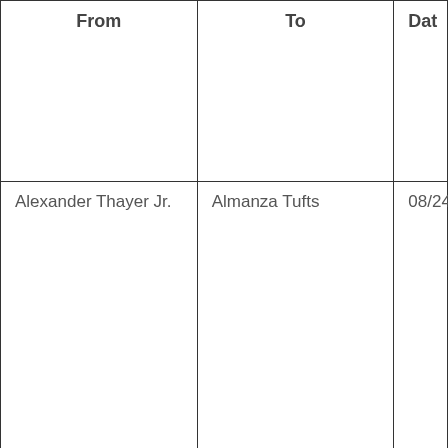| From | To | Date |
| --- | --- | --- |
| Alexander Thayer Jr. | Almanza Tufts | 08/24/ |